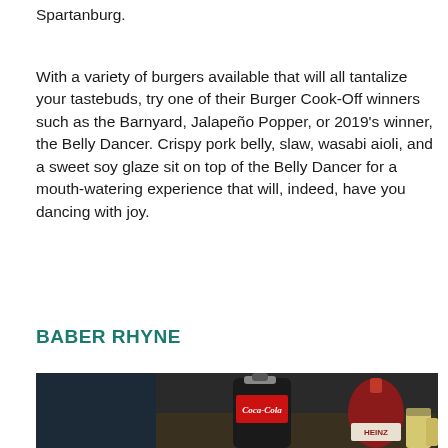Spartanburg.
With a variety of burgers available that will all tantalize your tastebuds, try one of their Burger Cook-Off winners such as the Barnyard, Jalapeño Popper, or 2019's winner, the Belly Dancer. Crispy pork belly, slaw, wasabi aioli, and a sweet soy glaze sit on top of the Belly Dancer for a mouth-watering experience that will, indeed, have you dancing with joy.
BABER RHYNE
[Figure (photo): Photo of a Coca-Cola glass bottle and a Heinz ketchup bottle on a diner table]